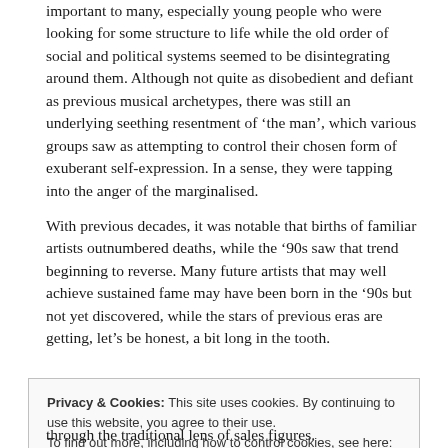important to many, especially young people who were looking for some structure to life while the old order of social and political systems seemed to be disintegrating around them. Although not quite as disobedient and defiant as previous musical archetypes, there was still an underlying seething resentment of 'the man', which various groups saw as attempting to control their chosen form of exuberant self-expression. In a sense, they were tapping into the anger of the marginalised.
With previous decades, it was notable that births of familiar artists outnumbered deaths, while the '90s saw that trend beginning to reverse. Many future artists that may well achieve sustained fame may have been born in the '90s but not yet discovered, while the stars of previous eras are getting, let's be honest, a bit long in the tooth.
Privacy & Cookies: This site uses cookies. By continuing to use this website, you agree to their use.
To find out more, including how to control cookies, see here: Cookie Policy
through the traditional lens of sales figures.